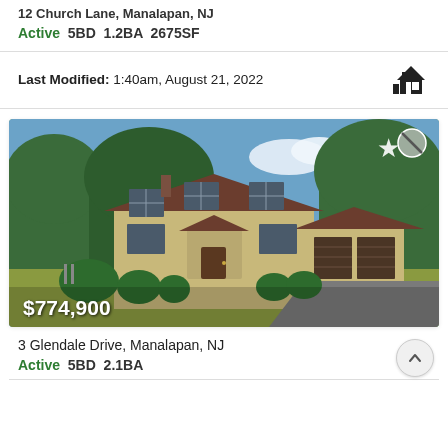12 Church Lane, Manalapan, NJ
Active  5BD  1.2BA  2675SF
Last Modified: 1:40am, August 21, 2022
[Figure (photo): Two-story colonial-style house with beige/tan siding, brown roof, attached two-car garage, green shrubs in front yard, green lawn, priced at $774,900]
3 Glendale Drive, Manalapan, NJ
Active  5BD  2.1BA